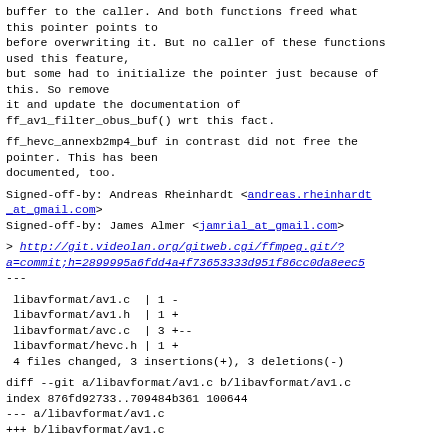buffer to the caller. And both functions freed what
this pointer points to
before overwriting it. But no caller of these functions
used this feature,
but some had to initialize the pointer just because of
this. So remove
it and update the documentation of
ff_av1_filter_obus_buf() wrt this fact.
ff_hevc_annexb2mp4_buf in contrast did not free the
pointer. This has been
documented, too.
Signed-off-by: Andreas Rheinhardt <andreas.rheinhardt_at_gmail.com>
Signed-off-by: James Almer <jamrial_at_gmail.com>
> http://git.videolan.org/gitweb.cgi/ffmpeg.git/?a=commit;h=2899995a6fdd4a4f73653333d951f86cc0da8eec5
---
libavformat/av1.c  | 1 -
 libavformat/av1.h  | 1 +
 libavformat/avc.c  | 3 +--
 libavformat/hevc.h | 1 +
 4 files changed, 3 insertions(+), 3 deletions(-)
diff --git a/libavformat/av1.c b/libavformat/av1.c
index 876fd92733..709484b361 100644
--- a/libavformat/av1.c
+++ b/libavformat/av1.c